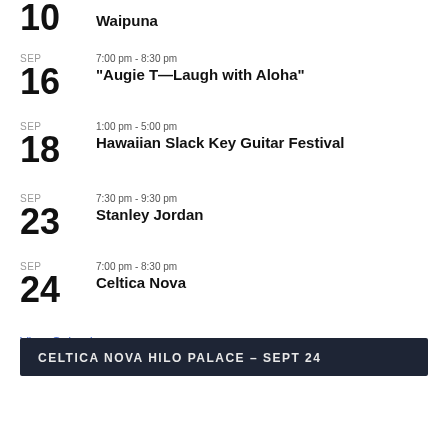10 Waipuna
SEP 16 — 7:00 pm - 8:30 pm — "Augie T—Laugh with Aloha"
SEP 18 — 1:00 pm - 5:00 pm — Hawaiian Slack Key Guitar Festival
SEP 23 — 7:30 pm - 9:30 pm — Stanley Jordan
SEP 24 — 7:00 pm - 8:30 pm — Celtica Nova
View Calendar
CELTICA NOVA HILO PALACE – SEPT 24